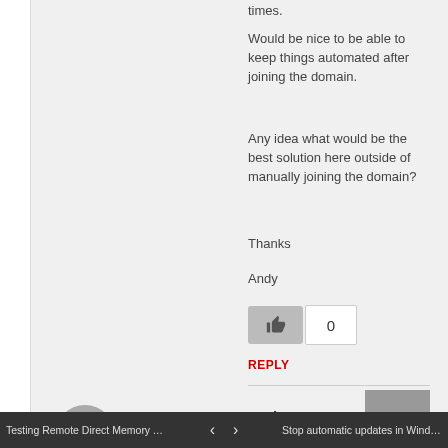times.
Would be nice to be able to keep things automated after joining the domain.
Any idea what would be the best solution here outside of manually joining the domain?
Thanks
Andy
[Figure (other): Like/thumbs-up button with count of 0]
REPLY
Andy
5 years ago
Testing Remote Direct Memory Acc...   <   >   Stop automatic updates in Window...